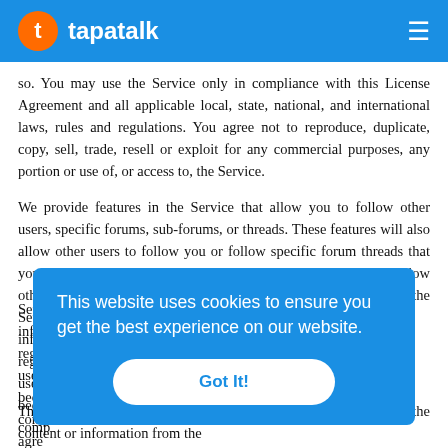tapatalk
so. You may use the Service only in compliance with this License Agreement and all applicable local, state, national, and international laws, rules and regulations. You agree not to reproduce, duplicate, copy, sell, trade, resell or exploit for any commercial purposes, any portion or use of, or access to, the Service.
We provide features in the Service that allow you to follow other users, specific forums, sub-forums, or threads. These features will also allow other users to follow you or follow specific forum threads that you make via the Service. In the event that you do not want to allow other users to follow you or your forum threads, please visit the Settings section in the Application to make certain information available to other users as well as your registered username or display name, and profile picture, your username or display name will automatically become publicly available to other users, and possibly become publicly indexed by search engines. You further agree
The Service may include advertisements, which may be targeted to the content or information from the
This website uses cookies to ensure you get the best experience on our website.
Got It!